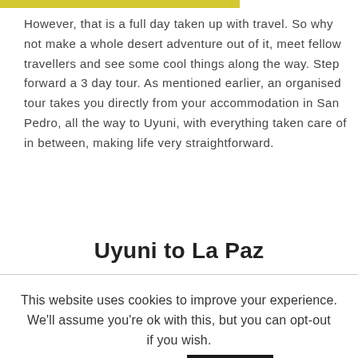However, that is a full day taken up with travel. So why not make a whole desert adventure out of it, meet fellow travellers and see some cool things along the way. Step forward a 3 day tour. As mentioned earlier, an organised tour takes you directly from your accommodation in San Pedro, all the way to Uyuni, with everything taken care of in between, making life very straightforward.
Uyuni to La Paz
This website uses cookies to improve your experience. We'll assume you're ok with this, but you can opt-out if you wish. Cookie settings ACCEPT